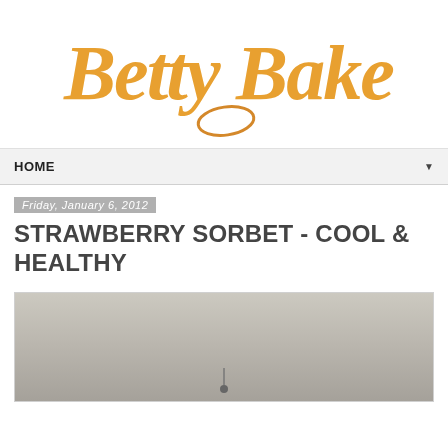[Figure (logo): Betty Bake logo in golden/orange cursive handwriting style script]
HOME
Friday, January 6, 2012
STRAWBERRY SORBET - COOL & HEALTHY
[Figure (photo): Close-up photo of a blurred beige/tan background with a small metal pin or needle visible at the bottom center]